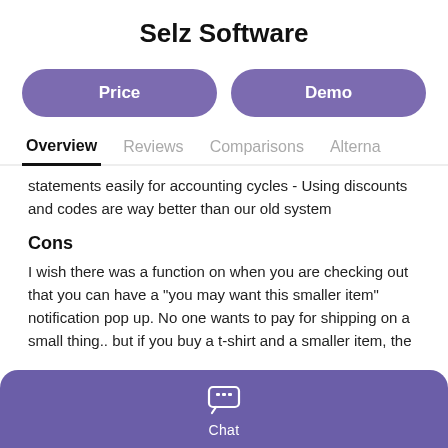Selz Software
Price
Demo
Overview
Reviews
Comparisons
Alterna
statements easily for accounting cycles - Using discounts and codes are way better than our old system
Cons
I wish there was a function on when you are checking out that you can have a "you may want this smaller item" notification pop up. No one wants to pay for shipping on a small thing.. but if you buy a t-shirt and a smaller item, the
Chat